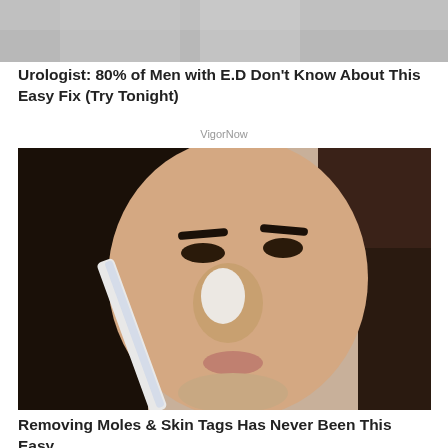[Figure (photo): Partial top image showing grey/blurred background, cropped advertisement image]
Urologist: 80% of Men with E.D Don't Know About This Easy Fix (Try Tonight)
VigorNow
[Figure (photo): Close-up photo of a dark-haired woman applying white cream or product to her nose area with a small brush/applicator]
Removing Moles & Skin Tags Has Never Been This Easy